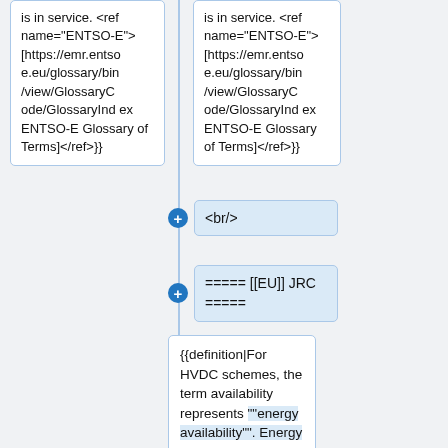is in service. <ref name="ENTSO-E"> [https://emr.entso e.eu/glossary/bin /view/GlossaryC ode/GlossaryInd ex ENTSO-E Glossary of Terms]</ref>}}
is in service. <ref name="ENTSO-E"> [https://emr.entso e.eu/glossary/bin /view/GlossaryC ode/GlossaryInd ex ENTSO-E Glossary of Terms]</ref>}}
<br/>
===== [[EU]] JRC =====
{{definition|For HVDC schemes, the term availability represents ""energy availability"". Energy